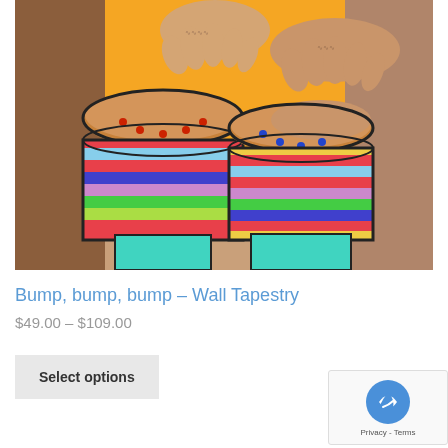[Figure (illustration): Colorful illustration of two bongo drums being played by tattooed hands against an orange background. The drums have multicolored striped bodies and teal bases.]
Bump, bump, bump – Wall Tapestry
$49.00 – $109.00
Select options